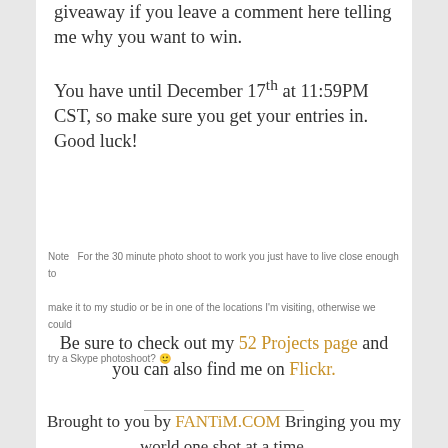giveaway if you leave a comment here telling me why you want to win.

You have until December 17th at 11:59PM CST, so make sure you get your entries in. Good luck!
Note   For the 30 minute photo shoot to work you just have to live close enough to make it to my studio or be in one of the locations I'm visiting, otherwise we could try a Skype photoshoot? 🙂
Be sure to check out my 52 Projects page and you can also find me on Flickr.
Brought to you by FANTiM.COM Bringing you my world one shot at a time.